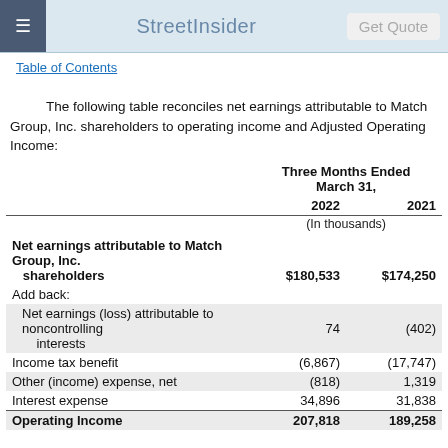StreetInsider  Get Quote
Table of Contents
The following table reconciles net earnings attributable to Match Group, Inc. shareholders to operating income and Adjusted Operating Income:
|  | Three Months Ended March 31, 2022 | Three Months Ended March 31, 2021 |
| --- | --- | --- |
| Net earnings attributable to Match Group, Inc. shareholders | $180,533 | $174,250 |
| Add back: |  |  |
| Net earnings (loss) attributable to noncontrolling interests | 74 | (402) |
| Income tax benefit | (6,867) | (17,747) |
| Other (income) expense, net | (818) | 1,319 |
| Interest expense | 34,896 | 31,838 |
| Operating Income | 207,818 | 189,258 |